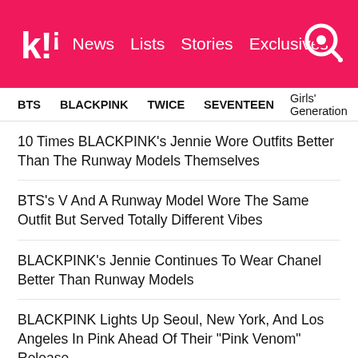Koreaboo | News | Lists | Stories | Exclusives
BTS | BLACKPINK | TWICE | SEVENTEEN | Girls' Generation
10 Times BLACKPINK's Jennie Wore Outfits Better Than The Runway Models Themselves
BTS's V And A Runway Model Wore The Same Outfit But Served Totally Different Vibes
BLACKPINK's Jennie Continues To Wear Chanel Better Than Runway Models
BLACKPINK Lights Up Seoul, New York, And Los Angeles In Pink Ahead Of Their "Pink Venom" Release
SEVENTEEN Wonwoo's Cover Of IU's "Knees" Is A Heartfelt Ode To His Mother
NEXT ARTICLE